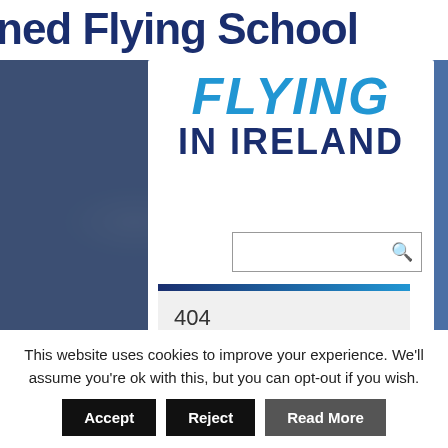ned Flying School
[Figure (logo): FLYING IN IRELAND logo in blue and dark navy bold italic text]
[Figure (screenshot): Search input box with magnifying glass icon]
404
This website uses cookies to improve your experience. We'll assume you're ok with this, but you can opt-out if you wish.
Accept
Reject
Read More